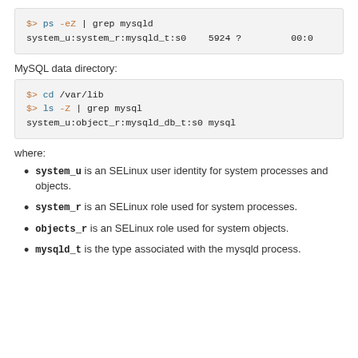[Figure (screenshot): Code block showing: $> ps -eZ | grep mysqld
system_u:system_r:mysqld_t:s0    5924 ?         00:0]
MySQL data directory:
[Figure (screenshot): Code block showing:
$> cd /var/lib
$> ls -Z | grep mysql
system_u:object_r:mysqld_db_t:s0 mysql]
where:
system_u is an SELinux user identity for system processes and objects.
system_r is an SELinux role used for system processes.
objects_r is an SELinux role used for system objects.
mysqld_t is the type associated with the mysqld process.